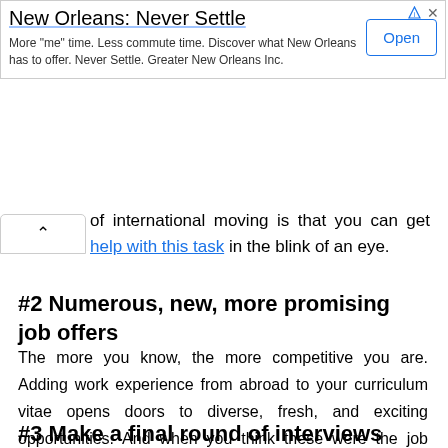[Figure (other): Advertisement banner for 'New Orleans: Never Settle' with Open button]
of international moving is that you can get help with this task in the blink of an eye.
#2 Numerous, new, more promising job offers
The more you know, the more competitive you are. Adding work experience from abroad to your curriculum vitae opens doors to diverse, fresh, and exciting opportunities. And when you think these were the job offers you once only dreamed of!
#3 Make a final round of interviews your playground